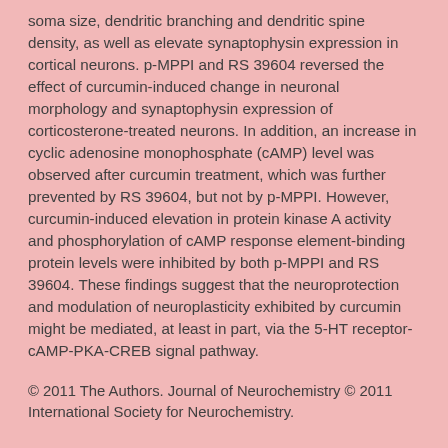soma size, dendritic branching and dendritic spine density, as well as elevate synaptophysin expression in cortical neurons. p-MPPI and RS 39604 reversed the effect of curcumin-induced change in neuronal morphology and synaptophysin expression of corticosterone-treated neurons. In addition, an increase in cyclic adenosine monophosphate (cAMP) level was observed after curcumin treatment, which was further prevented by RS 39604, but not by p-MPPI. However, curcumin-induced elevation in protein kinase A activity and phosphorylation of cAMP response element-binding protein levels were inhibited by both p-MPPI and RS 39604. These findings suggest that the neuroprotection and modulation of neuroplasticity exhibited by curcumin might be mediated, at least in part, via the 5-HT receptor-cAMP-PKA-CREB signal pathway.
© 2011 The Authors. Journal of Neurochemistry © 2011 International Society for Neurochemistry.